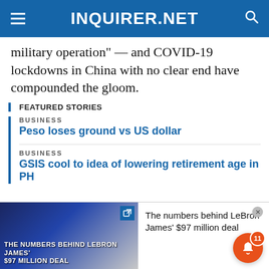INQUIRER.NET
military operation" — and COVID-19 lockdowns in China with no clear end have compounded the gloom.
FEATURED STORIES
BUSINESS
Peso loses ground vs US dollar
BUSINESS
GSIS cool to idea of lowering retirement age in PH
[Figure (screenshot): Advertisement banner showing LeBron James in Lakers uniform #23 with text 'THE NUMBERS BEHIND LEBRON JAMES' $97 MILLION DEAL' alongside article preview text 'The numbers behind LeBron James' $97 million deal' with notification bubble showing count 11]